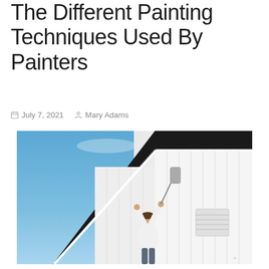The Different Painting Techniques Used By Painters
July 7, 2021   Mary Adams
[Figure (photo): A person painting the exterior white siding of a house, reaching up with a paint roller on an extension pole, against a blue sky background. The roof gable and trim are visible.]